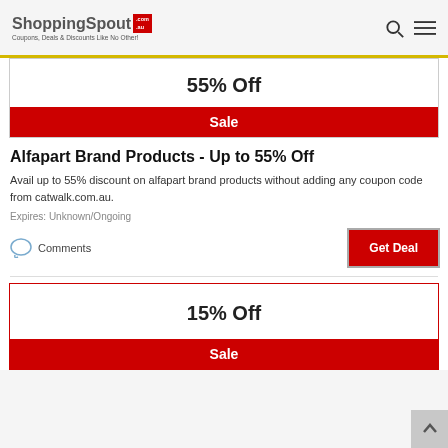ShoppingSpout.com.au — Coupons, Deals & Discounts Like No Other!
55% Off
Sale
Alfapart Brand Products - Up to 55% Off
Avail up to 55% discount on alfapart brand products without adding any coupon code from catwalk.com.au.
Expires: Unknown/Ongoing
Comments
Get Deal
15% Off
Sale